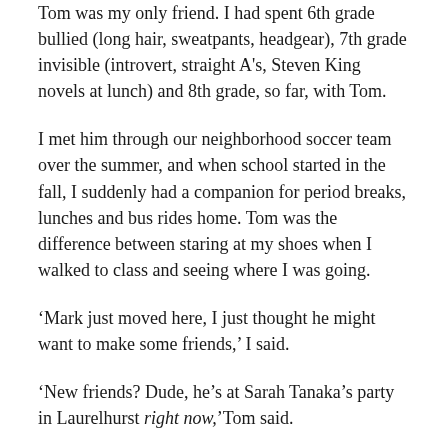Tom was my only friend. I had spent 6th grade bullied (long hair, sweatpants, headgear), 7th grade invisible (introvert, straight A's, Steven King novels at lunch) and 8th grade, so far, with Tom.
I met him through our neighborhood soccer team over the summer, and when school started in the fall, I suddenly had a companion for period breaks, lunches and bus rides home. Tom was the difference between staring at my shoes when I walked to class and seeing where I was going.
‘Mark just moved here, I just thought he might want to make some friends,’ I said.
‘New friends? Dude, he’s at Sarah Tanaka’s party in Laurelhurst right now,’ Tom said.
We were taking turns on Super Mario World,